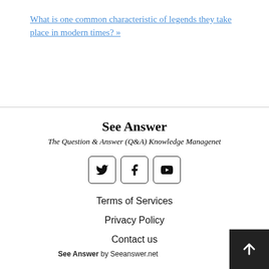What is one common characteristic of legends they take place in modern times? »
See Answer
The Question & Answer (Q&A) Knowledge Managenet
[Figure (other): Social media icon buttons for Twitter, Facebook, and YouTube in rounded square borders]
Terms of Services
Privacy Policy
Contact us
See Answer by Seeanswer.net